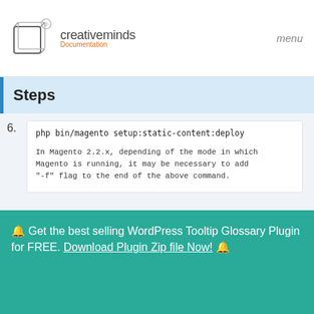creativeminds Documentation — menu
Steps
6. php bin/magento setup:static-content:deploy

In Magento 2.2.x, depending of the mode in which Magento is running, it may be necessary to add "-f" flag to the end of the above command.
7. chmod -R 777 pub/static
🔔 Get the best selling WordPress Tooltip Glossary Plugin for FREE. Download Plugin Zip file Now! 🔔